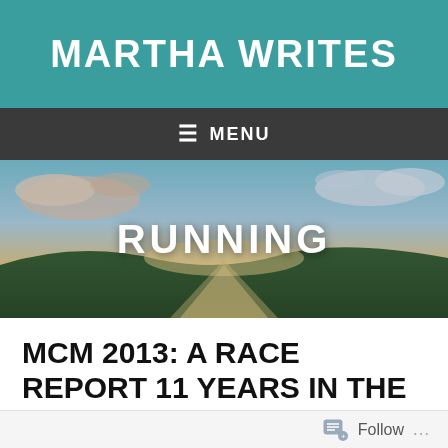MARTHA WRITES
≡ MENU
[Figure (photo): Scenic road stretching into the horizon with dramatic sky and clouds, sunset lighting. Text overlay: RUNNING]
MCM 2013: A RACE REPORT 11 YEARS IN THE MAKING
Posted on December 18, 2013
Follow ...